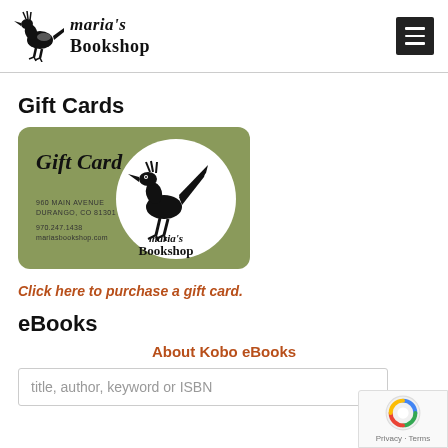Maria's Bookshop
Gift Cards
[Figure (illustration): Maria's Bookshop gift card with olive green background featuring a black roadrunner bird logo, text reading 'Gift Card', '960 Main Avenue Durango, CO 81301', '970.247.1438', 'mariasbookshop.com', and 'Maria's Bookshop']
Click here to purchase a gift card.
eBooks
About Kobo eBooks
title, author, keyword or ISBN